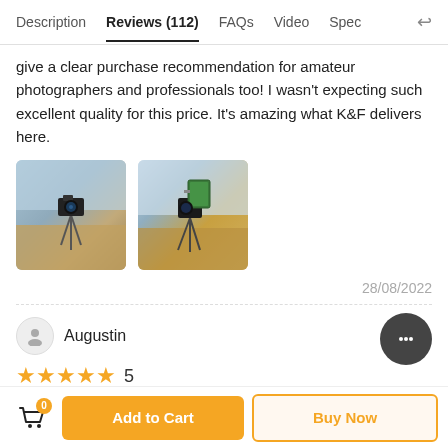Description | Reviews (112) | FAQs | Video | Spec
give a clear purchase recommendation for amateur photographers and professionals too! I wasn't expecting such excellent quality for this price. It's amazing what K&F delivers here.
[Figure (photo): Two review photos of camera equipment on tripods outdoors]
28/08/2022
Augustin
★★★★★ 5